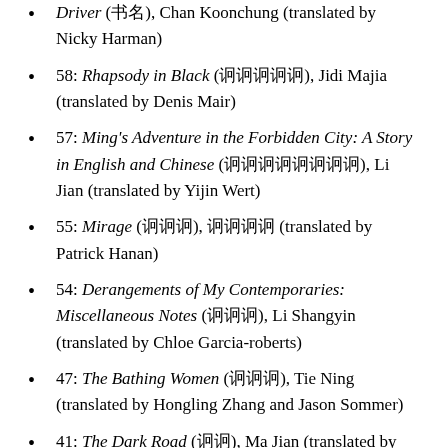Driver (书名), Chan Koonchung (translated by Nicky Harman)
58: Rhapsody in Black (书名), Jidi Majia (translated by Denis Mair)
57: Ming's Adventure in the Forbidden City: A Story in English and Chinese (书名), Li Jian (translated by Yijin Wert)
55: Mirage (书名), 作者名 (translated by Patrick Hanan)
54: Derangements of My Contemporaries: Miscellaneous Notes (书名), Li Shangyin (translated by Chloe Garcia-roberts)
47: The Bathing Women (书名), Tie Ning (translated by Hongling Zhang and Jason Sommer)
41: The Dark Road (书名), Ma Jian (translated by